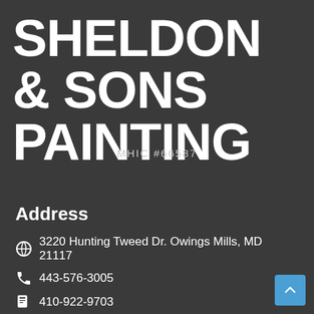SHELDON & SONS PAINTING
MHIC #66587
Address
3220 Hunting Tweed Dr. Owings Mills, MD 21117
443-576-3005
410-922-9703
painting@sheldonandsons.com